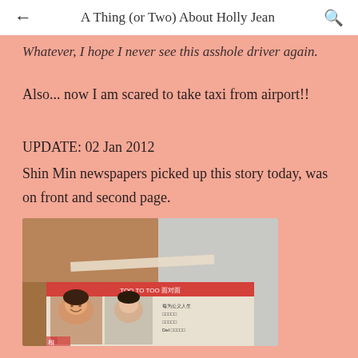← A Thing (or Two) About Holly Jean 🔍
Whatever, I hope I never see this asshole driver again.
Also... now I am scared to take taxi from airport!!
UPDATE: 02 Jan 2012
Shin Min newspapers picked up this story today, was on front and second page.
[Figure (photo): Photograph of a newspaper (Shin Min) laid on a surface, showing front page with photos of a woman smiling and a man, with Chinese text visible.]